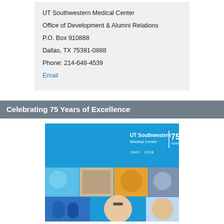UT Southwestern Medical Center
Office of Development & Alumni Relations
P.O. Box 910888
Dallas, TX 75391-0888
Phone: 214-648-4539
Email
Celebrating 75 Years of Excellence
[Figure (photo): UT Southwestern Medical Center 75th anniversary annual report cover showing collage of medical staff and students on a blue background with '75 YEARS 1943-2018' text]